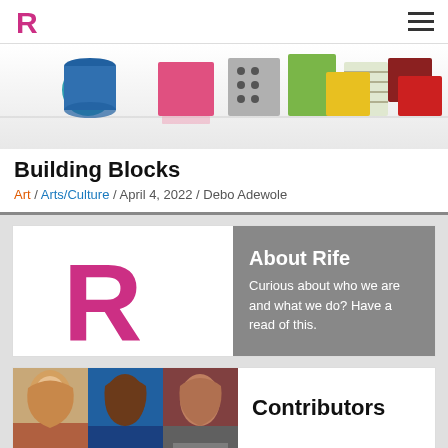Rife logo and navigation
[Figure (photo): Colorful building blocks arranged on a white reflective surface — red cube, patterned cube, green rectangle, patterned cube, teal cylinder, blue cylinder, dark red cube, yellow cube, red cube]
Building Blocks
Art / Arts/Culture / April 4, 2022 / Debo Adewole
[Figure (logo): Large pink/magenta R logo on white background]
About Rife
Curious about who we are and what we do? Have a read of this.
[Figure (photo): Three contributor portrait photos side by side]
Contributors